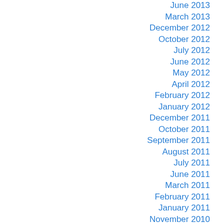June 2013
March 2013
December 2012
October 2012
July 2012
June 2012
May 2012
April 2012
February 2012
January 2012
December 2011
October 2011
September 2011
August 2011
July 2011
June 2011
March 2011
February 2011
January 2011
November 2010
October 2010
September 2010